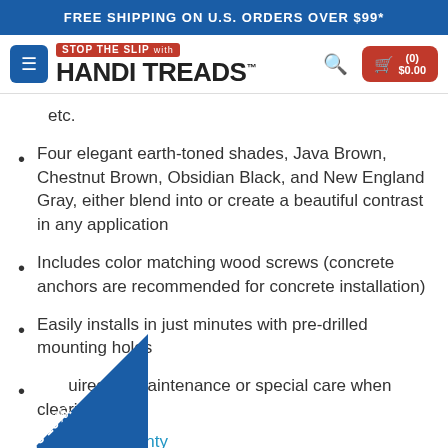FREE SHIPPING ON U.S. ORDERS OVER $99*
[Figure (logo): Handi Treads logo with 'Stop the Slip with Handi Treads' branding, hamburger menu, search icon, and cart button showing (0) $0.00]
etc.
Four elegant earth-toned shades, Java Brown, Chestnut Brown, Obsidian Black, and New England Gray, either blend into or create a beautiful contrast in any application
Includes color matching wood screws (concrete anchors are recommended for concrete installation)
Easily installs in just minutes with pre-drilled mounting holes
Requires no maintenance or special care when clearing dirt
dential warranty